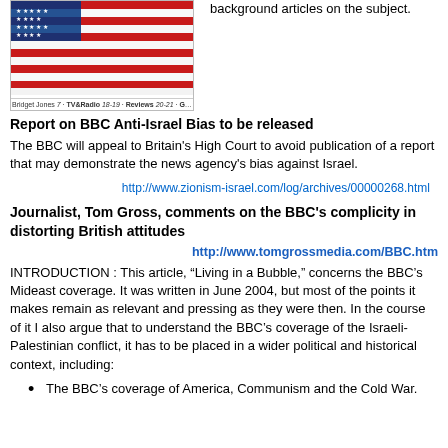[Figure (photo): Newspaper front page showing an American flag with section labels at the bottom: Bridget Jones 7, TV&Radio 18-19, Reviews 20-21, Games 22, The Ten Best 24]
background articles on the subject.
Report on BBC Anti-Israel Bias to be released
The BBC will appeal to Britain's High Court to avoid publication of a report that may demonstrate the news agency's bias against Israel.
http://www.zionism-israel.com/log/archives/00000268.html
Journalist, Tom Gross, comments on the BBC's complicity in distorting British attitudes
http://www.tomgrossmedia.com/BBC.htm
INTRODUCTION : This article, “Living in a Bubble,” concerns the BBC’s Mideast coverage. It was written in June 2004, but most of the points it makes remain as relevant and pressing as they were then. In the course of it I also argue that to understand the BBC’s coverage of the Israeli-Palestinian conflict, it has to be placed in a wider political and historical context, including:
The BBC’s coverage of America, Communism and the Cold War.